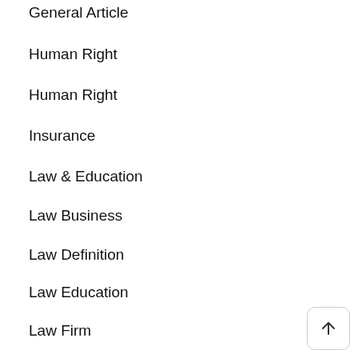General Article
Human Right
Human Right
Insurance
Law & Education
Law Business
Law Definition
Law Education
Law Firm
Law Students
Lawsuit
Lawyer
Legal